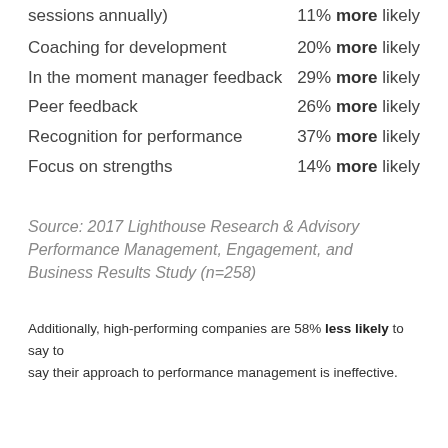sessions annually) — 11% more likely
Coaching for development — 20% more likely
In the moment manager feedback — 29% more likely
Peer feedback — 26% more likely
Recognition for performance — 37% more likely
Focus on strengths — 14% more likely
Source: 2017 Lighthouse Research & Advisory Performance Management, Engagement, and Business Results Study (n=258)
Additionally, high-performing companies are 58% less likely to say to say their approach to performance management is ineffective.